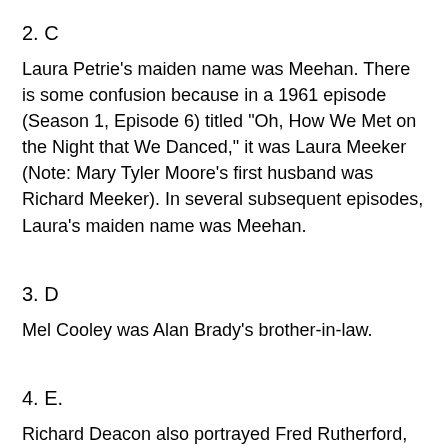2.  C
Laura Petrie's maiden name was Meehan.  There is some confusion because in a 1961 episode (Season 1, Episode 6) titled "Oh, How We Met on the Night that We Danced," it was Laura Meeker (Note: Mary Tyler Moore's first husband was Richard Meeker).  In several subsequent episodes, Laura's maiden name was Meehan.
3.  D
Mel Cooley was Alan Brady's brother-in-law.
4.  E.
Richard Deacon also portrayed Fred Rutherford, Ward Cleaver's work colleague and Clarence